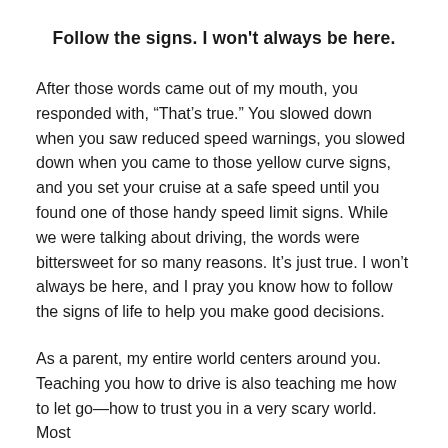Follow the signs. I won't always be here.
After those words came out of my mouth, you responded with, “That’s true.” You slowed down when you saw reduced speed warnings, you slowed down when you came to those yellow curve signs, and you set your cruise at a safe speed until you found one of those handy speed limit signs. While we were talking about driving, the words were bittersweet for so many reasons. It’s just true. I won’t always be here, and I pray you know how to follow the signs of life to help you make good decisions.
As a parent, my entire world centers around you. Teaching you how to drive is also teaching me how to let go—how to trust you in a very scary world. Most